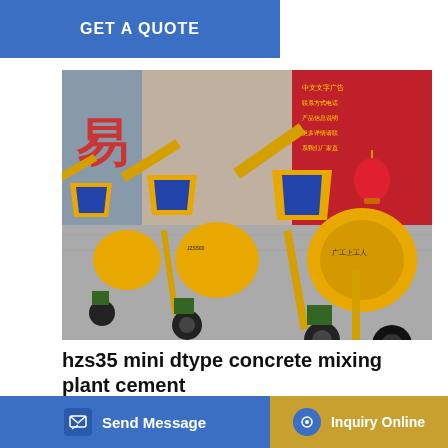GET A QUOTE
[Figure (photo): Multiple yellow hzs35 mini dtype concrete mixing plant machines lined up outdoors in front of a building with Chinese signage and red Chinese lantern decorations]
hzs35 mini dtype concrete mixing plant cement
Mini Small 35m3 Fh Hzs35 Ready Mixed Concrete Batching. hot selling mini ready-mixed concrete mixing plant
3 h yh  er plant
Send Message
Inquiry Online